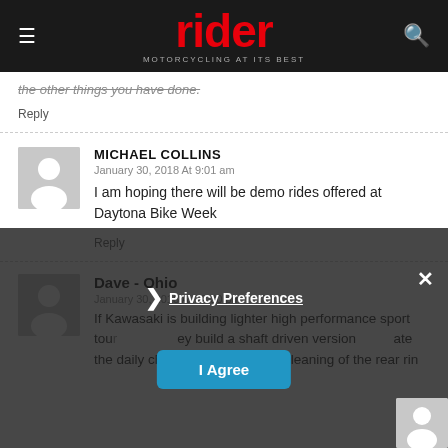rider MOTORCYCLING AT ITS BEST
the other things you have done.
Reply
MICHAEL COLLINS
January 30, 2018 At 9:01 am
I am hoping there will be demo rides offered at Daytona Bike Week
Reply
Dave - Ohio
January 30, 2018 At 12:30 pm
If Kawasaki is building lighter high performance sport touring bikes they build a shaft driven version to eliminate the daily chain maintenance and cleaning of the rear rin
Privacy Preferences
I Agree